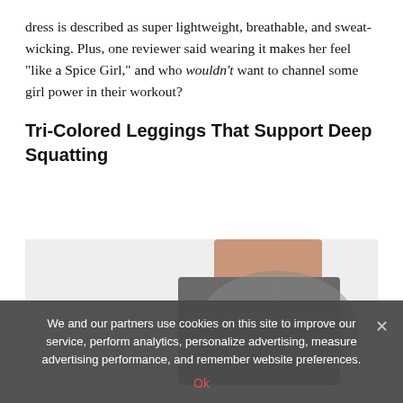dress is described as super lightweight, breathable, and sweat-wicking. Plus, one reviewer said wearing it makes her feel "like a Spice Girl," and who wouldn't want to channel some girl power in their workout?
Tri-Colored Leggings That Support Deep Squatting
[Figure (photo): A close-up photo of a person wearing grey heathered leggings, showing the hip and waistband area. The background is light grey.]
We and our partners use cookies on this site to improve our service, perform analytics, personalize advertising, measure advertising performance, and remember website preferences.
Ok